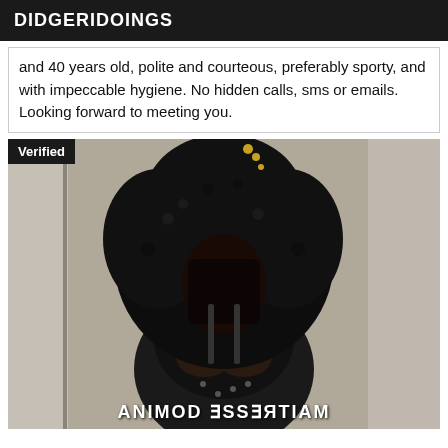DIDGERIDOINGS
and 40 years old, polite and courteous, preferably sporty, and with impeccable hygiene. No hidden calls, sms or emails. Looking forward to meeting you.
[Figure (photo): Photo of a person with curly hair wearing a black leather outfit, face obscured. A 'Verified' badge appears in the top-left corner. Mirrored watermark text 'MAITRESSE DOMINA' appears at the bottom.]